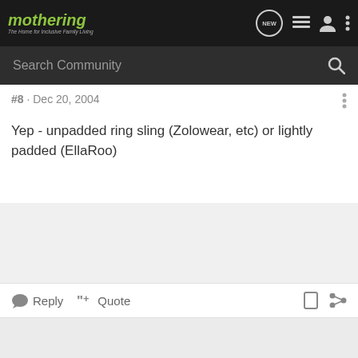mothering – The Home for Inclusive Family Living
Search Community
#8 · Dec 20, 2004
Yep - unpadded ring sling (Zolowear, etc) or lightly padded (EllaRoo)
Reply  Quote